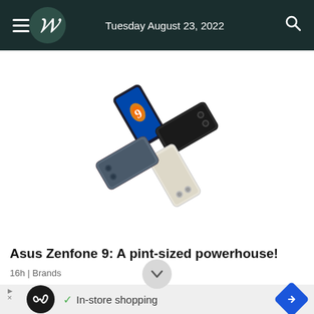Tuesday August 23, 2022
[Figure (photo): Five ASUS Zenfone 9 smartphones arranged in a fan/pinwheel pattern, showing different color variants: blue (screen on showing jellyfish wallpaper), dark grey/black, light cream/white, red/burgundy, and slate blue — photographed from above on a white background.]
Asus Zenfone 9: A pint-sized powerhouse!
16h | Brands
[Figure (screenshot): Advertisement banner showing an infinity loop logo on black circle, checkmark with 'In-store shopping' text, and a blue hexagonal arrow icon on right.]